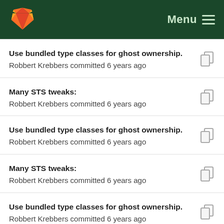GitLab Menu
Use bundled type classes for ghost ownership.
Robbert Krebbers committed 6 years ago
Many STS tweaks:
Robbert Krebbers committed 6 years ago
Use bundled type classes for ghost ownership.
Robbert Krebbers committed 6 years ago
Many STS tweaks:
Robbert Krebbers committed 6 years ago
Use bundled type classes for ghost ownership.
Robbert Krebbers committed 6 years ago
Many STS tweaks:
Robbert Krebbers committed 6 years ago
Use bundled type classes for ghost ownership.
Robbert Krebbers committed 6 years ago